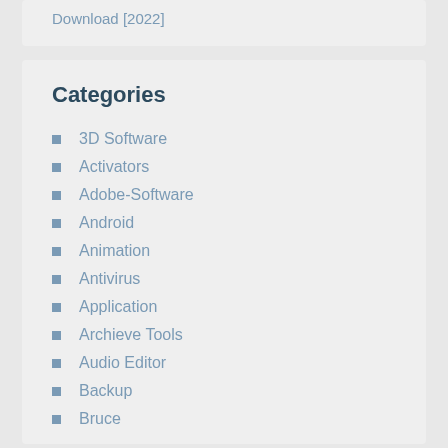Download [2022]
Categories
3D Software
Activators
Adobe-Software
Android
Animation
Antivirus
Application
Archieve Tools
Audio Editor
Backup
Bruce